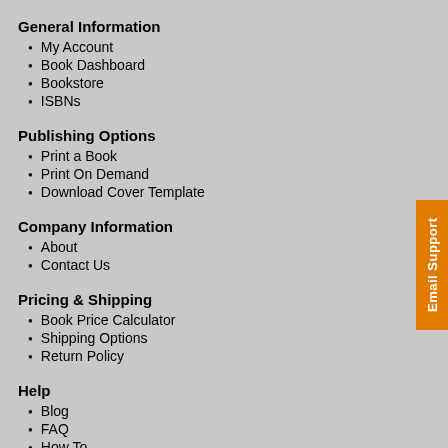General Information
My Account
Book Dashboard
Bookstore
ISBNs
Publishing Options
Print a Book
Print On Demand
Download Cover Template
Company Information
About
Contact Us
Pricing & Shipping
Book Price Calculator
Shipping Options
Return Policy
Help
Blog
FAQ
How To